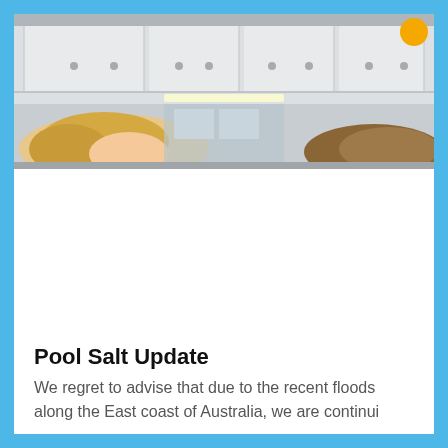[Figure (photo): Indoor retail or storage area photo showing white overhead cabinets/shelves and two people partially visible — a person with blonde hair on the left and another person on the right. Fluorescent lighting, shelving units and product displays visible in background.]
Pool Salt Update
We regret to advise that due to the recent floods along the East coast of Australia, we are continui